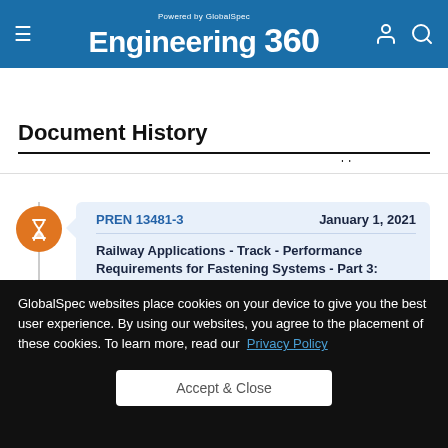Powered by GlobalSpec Engineering 360
Document History
PREN 13481-3  January 1, 2021
Railway Applications - Track - Performance Requirements for Fastening Systems - Part 3: Fastening Systems for wood and
GlobalSpec websites place cookies on your device to give you the best user experience. By using our websites, you agree to the placement of these cookies. To learn more, read our  Privacy Policy
Accept & Close